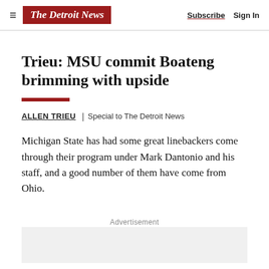≡  The Detroit News  |  Subscribe  Sign In
Trieu: MSU commit Boateng brimming with upside
ALLEN TRIEU  |  Special to The Detroit News
Michigan State has had some great linebackers come through their program under Mark Dantonio and his staff, and a good number of them have come from Ohio.
Advertisement